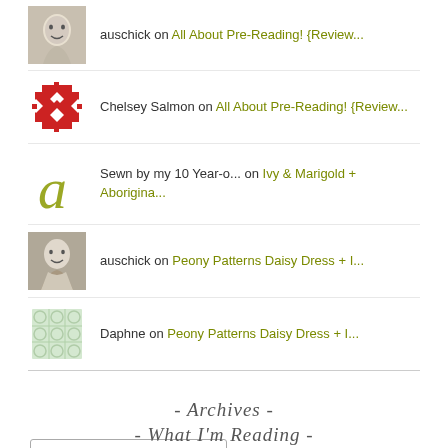auschick on All About Pre-Reading! {Review...
Chelsey Salmon on All About Pre-Reading! {Review...
Sewn by my 10 Year-o... on Ivy & Marigold + Aborigina...
auschick on Peony Patterns Daisy Dress + I...
Daphne on Peony Patterns Daisy Dress + I...
- Archives -
Select Month
- What I'm Reading -